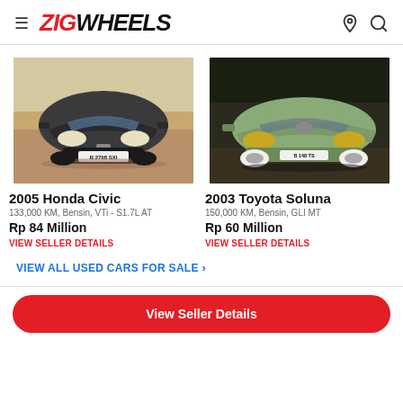ZIGWHEELS
[Figure (photo): Front view of a dark gray 2005 Honda Civic with license plate B 2798 SXI on a reddish dirt road]
2005 Honda Civic
133,000 KM, Bensin, VTi - S1.7L AT
Rp 84 Million
VIEW SELLER DETAILS
[Figure (photo): Front view of a silver-green 2003 Toyota Soluna with white alloy wheels, partially visible license plate]
2003 Toyota Soluna
150,000 KM, Bensin, GLI MT
Rp 60 Million
VIEW SELLER DETAILS
VIEW ALL USED CARS FOR SALE ›
View Seller Details